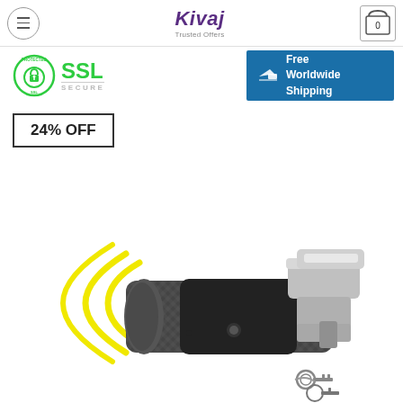[Figure (logo): Kivaj Trusted Offers logo with hamburger menu icon and cart icon with 0 items]
[Figure (infographic): SSL Secured badge with green lock icon and blue Free Worldwide Shipping banner with airplane icon]
24% OFF
[Figure (photo): Car steering wheel lock security device with alarm (carbon fiber body, chrome clamp) and car keys, with yellow sound waves indicating alarm feature]